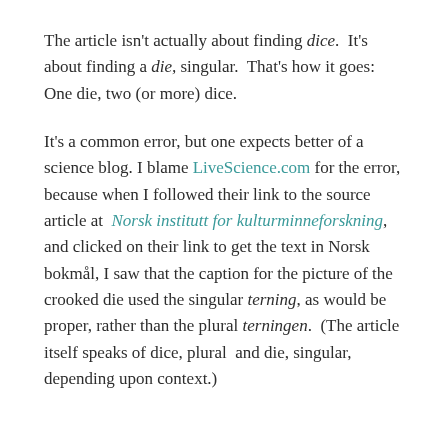The article isn't actually about finding dice.  It's about finding a die, singular.  That's how it goes:  One die, two (or more) dice.
It's a common error, but one expects better of a science blog. I blame LiveScience.com for the error, because when I followed their link to the source article at  Norsk institutt for kulturminneforskning, and clicked on their link to get the text in Norsk bokmål, I saw that the caption for the picture of the crooked die used the singular terning, as would be proper, rather than the plural terningen.  (The article itself speaks of dice, plural  and die, singular, depending upon context.)